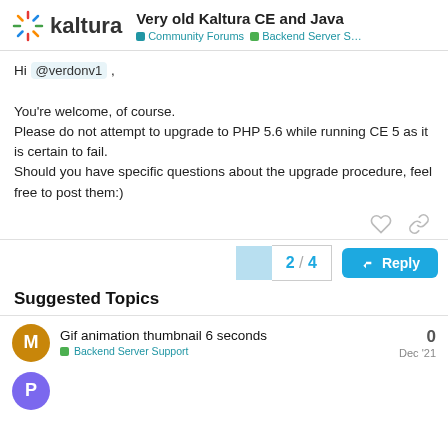Very old Kaltura CE and Java | Community Forums | Backend Server Support
Hi @verdonv1 ,

You're welcome, of course.
Please do not attempt to upgrade to PHP 5.6 while running CE 5 as it is certain to fail.
Should you have specific questions about the upgrade procedure, feel free to post them:)
2 / 4
Reply
Suggested Topics
Gif animation thumbnail 6 seconds
Backend Server Support | Dec '21 | 0